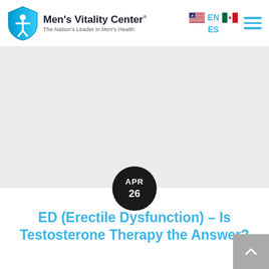Men's Vitality Center — The Nation's Leader in Men's Health
[Figure (photo): Light gray hero banner image area for a blog post about ED and Testosterone Therapy, with a dark circular date badge showing APR 26]
ED (Erectile Dysfunction) – Is Testosterone Therapy the Answer?